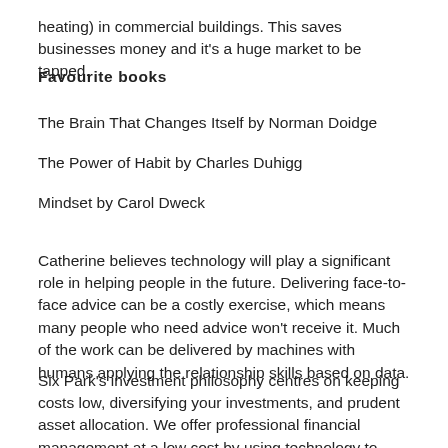the other uses the internet to control energy (such as lights and heating) in commercial buildings. This saves businesses money and it's a huge market to be tapped.
Favourite books
The Brain That Changes Itself by Norman Doidge
The Power of Habit by Charles Duhigg
Mindset by Carol Dweck
Catherine believes technology will play a significant role in helping people in the future. Delivering face-to-face advice can be a costly exercise, which means many people who need advice won't receive it. Much of the work can be delivered by machines with humans applying the relationship skills based on data.
Six Park's investment philosophy centres on keeping costs low, diversifying your investments, and prudent asset allocation. We offer professional financial management at a low cost by using technology to automate many of the expensive, time-consuming aspects of investing. This opens up the investing world to people who might not have been able to afford professional investment advice in the past.